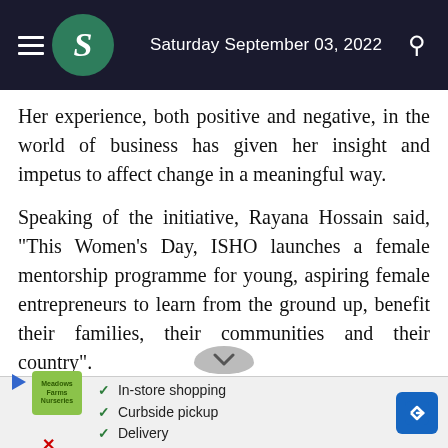Saturday September 03, 2022
Her experience, both positive and negative, in the world of business has given her insight and impetus to affect change in a meaningful way.
Speaking of the initiative, Rayana Hossain said, "This Women's Day, ISHO launches a female mentorship programme for young, aspiring female entrepreneurs to learn from the ground up, benefit their families, their communities and their country".
She further stated, "I have made a pledge to strive towards 50/50 gender representation. It's important
[Figure (screenshot): Advertisement banner showing Meadows Farms Nurseries with In-store shopping, Curbside pickup, and Delivery options, with a navigation arrow icon on the right.]